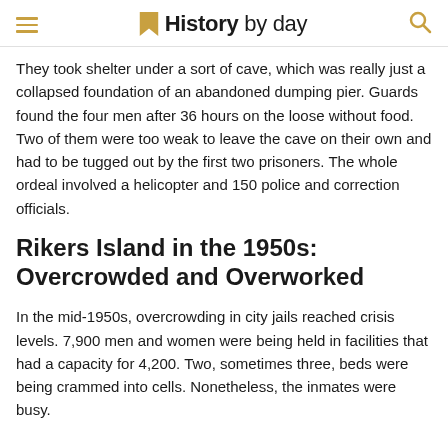History by day
They took shelter under a sort of cave, which was really just a collapsed foundation of an abandoned dumping pier. Guards found the four men after 36 hours on the loose without food. Two of them were too weak to leave the cave on their own and had to be tugged out by the first two prisoners. The whole ordeal involved a helicopter and 150 police and correction officials.
Rikers Island in the 1950s: Overcrowded and Overworked
In the mid-1950s, overcrowding in city jails reached crisis levels. 7,900 men and women were being held in facilities that had a capacity for 4,200. Two, sometimes three, beds were being crammed into cells. Nonetheless, the inmates were busy.